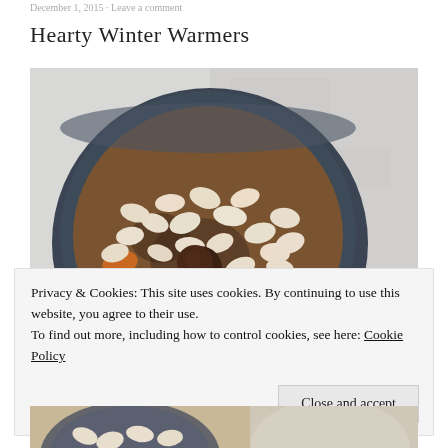December 1, 2015 · Leave a comment
Hearty Winter Warmers
[Figure (photo): Overhead photo of a dark bowl filled with white beans, carrots, and meatballs in a stew, on a light grey stone surface. Partial white bowl visible at bottom right.]
Privacy & Cookies: This site uses cookies. By continuing to use this website, you agree to their use.
To find out more, including how to control cookies, see here: Cookie Policy
[Figure (photo): Partial bottom view of a bowl with white beans and food, cropped at page bottom.]